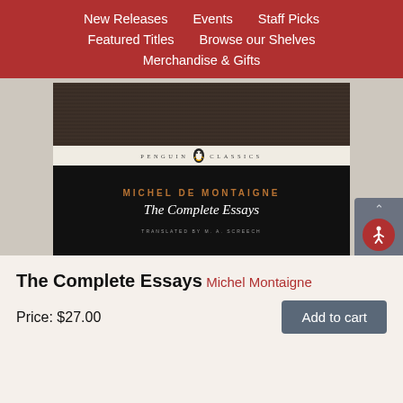New Releases | Events | Staff Picks | Featured Titles | Browse our Shelves | Merchandise & Gifts
[Figure (photo): Book cover of 'The Complete Essays' by Michel de Montaigne, Penguin Classics edition. Dark textured top, Penguin Classics band in middle, black bottom section with author name in copper lettering, title in white italic, and translator credit.]
The Complete Essays
Michel Montaigne
Price: $27.00
Add to cart